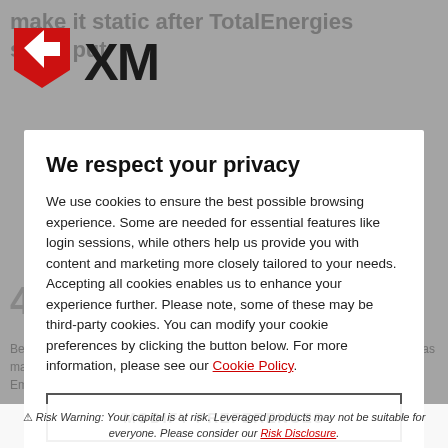[Figure (logo): XM trading platform logo with red shield/arrow icon and bold XM text]
We respect your privacy
We use cookies to ensure the best possible browsing experience. Some are needed for essential features like login sessions, while others help us provide you with content and marketing more closely tailored to your needs. Accepting all cookies enables us to enhance your experience further. Please note, some of these may be third-party cookies. You can modify your cookie preferences by clicking the button below. For more information, please see our Cookie Policy.
MODIFY PREFERENCES
ACCEPT ALL
⚠ Risk Warning: Your capital is at risk. Leveraged products may not be suitable for everyone. Please consider our Risk Disclosure.